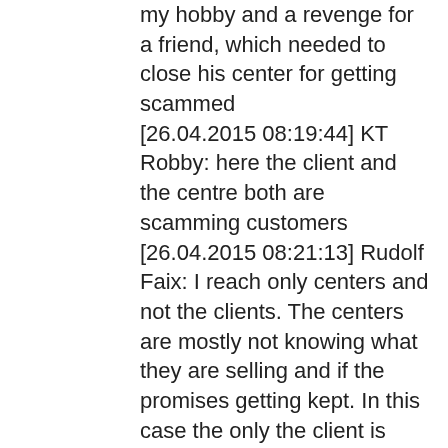my hobby and a revenge for a friend, which needed to close his center for getting scammed
[26.04.2015 08:19:44] KT Robby: here the client and the centre both are scamming customers
[26.04.2015 08:21:13] Rudolf Faix: I reach only centers and not the clients. The centers are mostly not knowing what they are selling and if the promises getting kept. In this case the only the client is responsible for his campaign
[26.04.2015 08:21:59] Rudolf Faix: The centers are only responsible if they could know about the scam. This is the case with the Windows Pop Up calls
[26.04.2015 08:22:21] KT Robby: i told u this rest of depend n you sir
[26.04.2015 08:22:29] KT Robby: its a veri big scam
[26.04.2015 08:22:39] KT Robby: i can